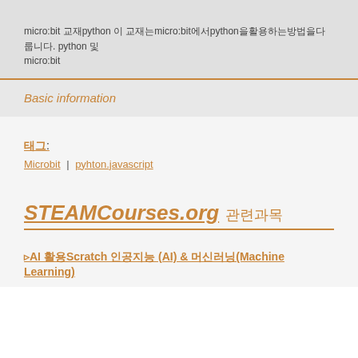micro:bit 교재python 이 교재는micro:bit에서python을활용하는방법을다룹니다. python 및 micro:bit
Basic information
태그:
Microbit | pyhton.javascript
STEAMCourses.org 관련과목
▹AI 활용Scratch 인공지능 (AI) & 머신러닝(Machine Learning)